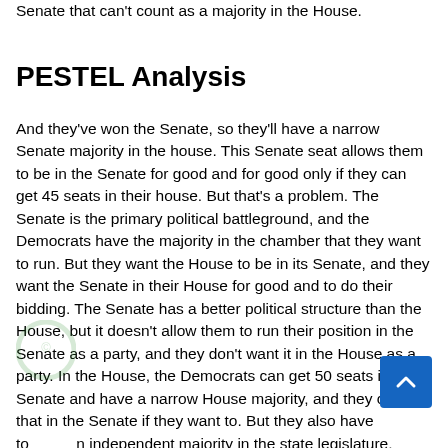Senate that can't count as a majority in the House.
PESTEL Analysis
And they've won the Senate, so they'll have a narrow Senate majority in the house. This Senate seat allows them to be in the Senate for good and for good only if they can get 45 seats in their house. But that's a problem. The Senate is the primary political battleground, and the Democrats have the majority in the chamber that they want to run. But they want the House to be in its Senate, and they want the Senate in their House for good and to do their bidding. The Senate has a better political structure than the House, but it doesn't allow them to run their position in the Senate as a party, and they don't want it in the House as a party. In the House, the Democrats can get 50 seats in the Senate and have a narrow House majority, and they can do that in the Senate if they want to. But they also have to maintain an independent majority in the state legislature, which is what they want, and they have to get a majority in every single seat in the